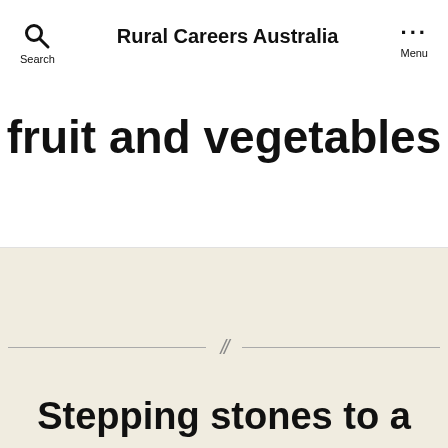Rural Careers Australia
fruit and vegetables
Stepping stones to a